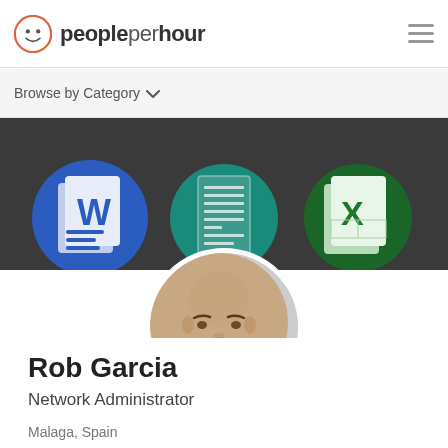peopleperhour
Browse by Category
[Figure (screenshot): Banner showing Microsoft Word, a document/text file, and Microsoft Excel icons on a dark background with text 'ONLINE DATA RESEARCH, ORG... D DATA APPENDING SERVIC...']
[Figure (photo): Circular profile photo of Rob Garcia, a bald man smiling, with circular crop and white border]
Rob Garcia
Network Administrator
Malaga, Spain